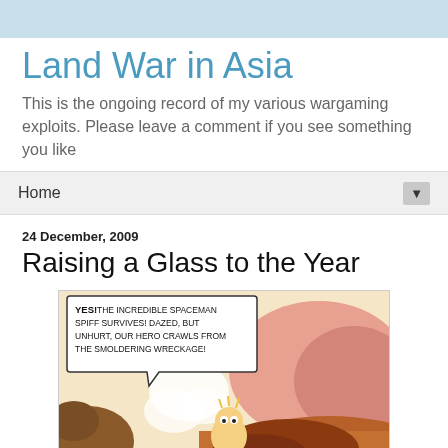Land War in Asia
This is the ongoing record of my various wargaming exploits. Please leave a comment if you see something you like
Home
24 December, 2009
Raising a Glass to the Year
[Figure (illustration): Calvin and Hobbes comic strip panel showing Spaceman Spiff character with speech bubble: YES! THE INCREDIBLE SPACEMAN SPIFF SURVIVES! DAZED, BUT UNHURT, OUR HERO CRAWLS FROM THE SMOLDERING WRECKAGE!]